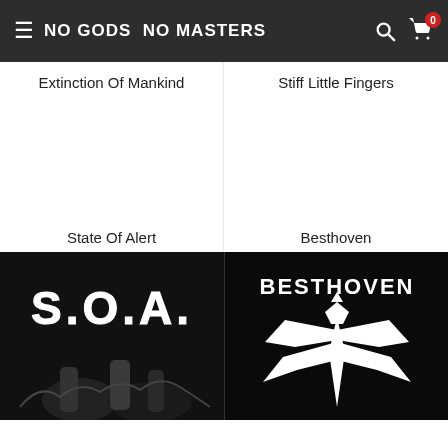NO GODS NO MASTERS
Extinction Of Mankind
Stiff Little Fingers
State Of Alert
Besthoven
[Figure (photo): Black and white punk band photo with S.O.A. logo text]
[Figure (photo): Black and white Besthoven logo with bird/wing graphic on black background]